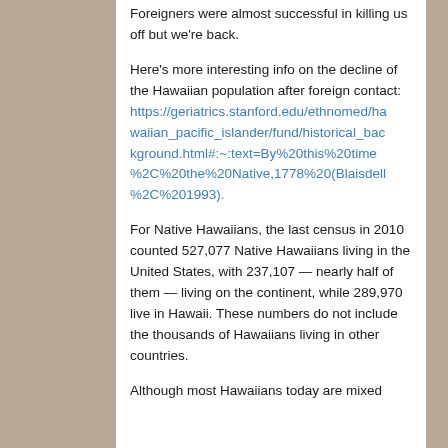Foreigners were almost successful in killing us off but we're back.
Here's more interesting info on the decline of the Hawaiian population after foreign contact: https://geriatrics.stanford.edu/ethnomed/hawaiian_pacific_islander/fund/historical_background.html#:~:text=By%20this%20time%2C%20the%20Native,1778%20(Blaisdell%2C%201993).
For Native Hawaiians, the last census in 2010 counted 527,077 Native Hawaiians living in the United States, with 237,107 — nearly half of them — living on the continent, while 289,970 live in Hawaii. These numbers do not include the thousands of Hawaiians living in other countries.
Although most Hawaiians today are mixed